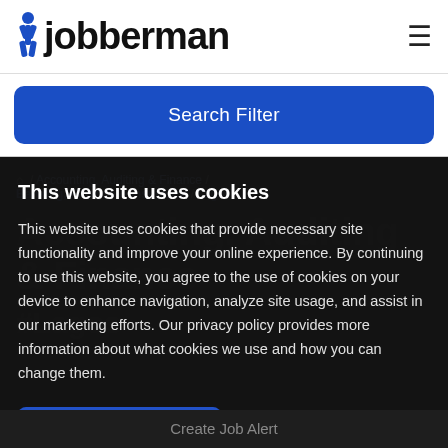[Figure (logo): Jobberman logo with blue person icon and black text]
Search Filter
/ Accounting, Auditing & Finance / Banking, Finance & Insurance / Lagos
This website uses cookies
This website uses cookies that provide necessary site functionality and improve your online experience. By continuing to use this website, you agree to the use of cookies on your device to enhance navigation, analyze site usage, and assist in our marketing efforts. Our privacy policy provides more information about what cookies we use and how you can change them.
Accept and Close
Learn More
Create Job Alert